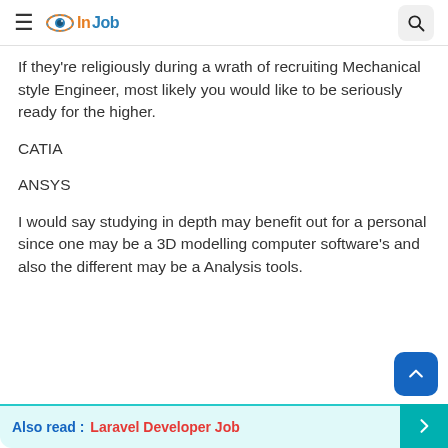InJob (hamburger menu + search icon)
If they're religiously during a wrath of recruiting Mechanical style Engineer, most likely you would like to be seriously ready for the higher.
CATIA
ANSYS
I would say studying in depth may benefit out for a personal since one may be a 3D modelling computer software's and also the different may be a Analysis tools.
Also read : Laravel Developer Job